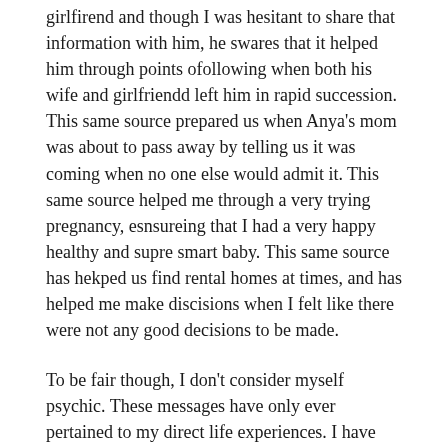girlfirend and though I was hesitant to share that information with him, he swares that it helped him through points ofollowing when both his wife and girlfriendd left him in rapid succession. This same source prepared us when Anya's mom was about to pass away by telling us it was coming when no one else would admit it. This same source helped me through a very trying pregnancy, esnsureing that I had a very happy healthy and supre smart baby. This same source has hekped us find rental homes at times, and has helped me make discisions when I felt like there were not any good decisions to be made.
To be fair though, I don't consider myself psychic. These messages have only ever pertained to my direct life experiences. I have never gotten intense messages like this regarding other people, and definitely never with strangers.